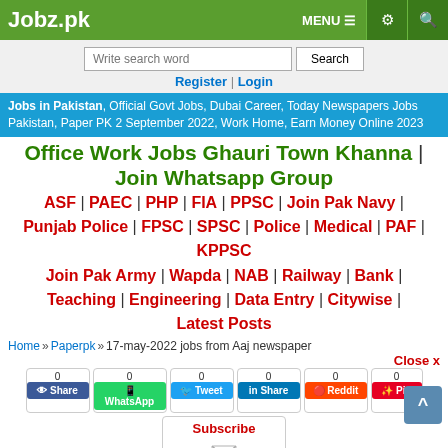Jobz.pk | MENU | settings | search
Write search word | Search | Register | Login
Jobs in Pakistan, Official Govt Jobs, Dubai Career, Today Newspapers Jobs Pakistan, Paper PK 2 September 2022, Work Home, Earn Money Online 2023
Office Work Jobs Ghauri Town Khanna | Join Whatsapp Group
ASF | PAEC | PHP | FIA | PPSC | Join Pak Navy | Punjab Police | FPSC | SPSC | Police | Medical | PAF | KPPSC
Join Pak Army | Wapda | NAB | Railway | Bank | Teaching | Engineering | Data Entry | Citywise | Latest Posts
Home » Paperpk » 17-may-2022 jobs from Aaj newspaper
Close x
0 Share | 0 WhatsApp | 0 Tweet | 0 Share | 0 Reddit | 0 Pin
Subscribe
Alerts | Register | Login